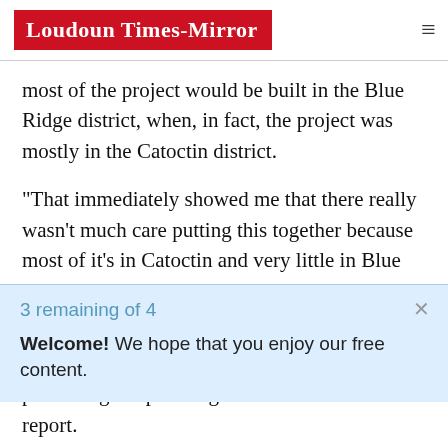Loudoun Times-Mirror
most of the project would be built in the Blue Ridge district, when, in fact, the project was mostly in the Catoctin district.
"That immediately showed me that there really wasn't much care putting this together because most of it's in Catoctin and very little in Blue Ridge," Scheel said. "And there were other sort of inconsistencies when I read the report very carefully that gave me the opinion that it was somewhat put together in less than a studied manner."
3 remaining of 4
Welcome! We hope that you enjoy our free content.
presenting the planning commission with its report.